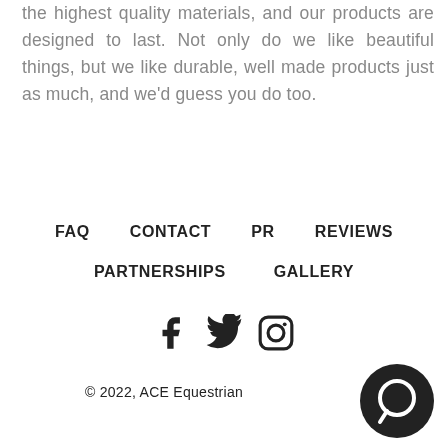the highest quality materials, and our products are designed to last. Not only do we like beautiful things, but we like durable, well made products just as much, and we'd guess you do too.
FAQ
CONTACT
PR
REVIEWS
PARTNERSHIPS
GALLERY
[Figure (infographic): Social media icons: Facebook, Twitter, Instagram]
© 2022, ACE Equestrian